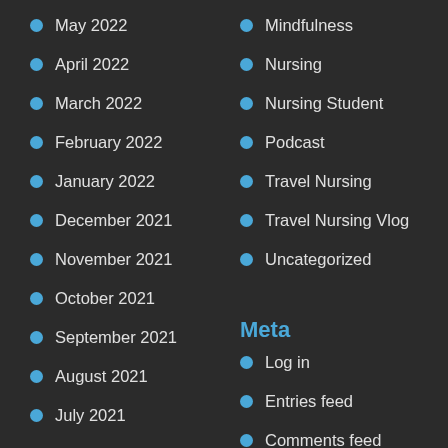May 2022
Mindfulness
April 2022
Nursing
March 2022
Nursing Student
February 2022
Podcast
January 2022
Travel Nursing
December 2021
Travel Nursing Vlog
November 2021
Uncategorized
October 2021
September 2021
Meta
August 2021
Log in
July 2021
Entries feed
May 2021
Comments feed
April 2021
WordPress.org
March 2021
January 2021